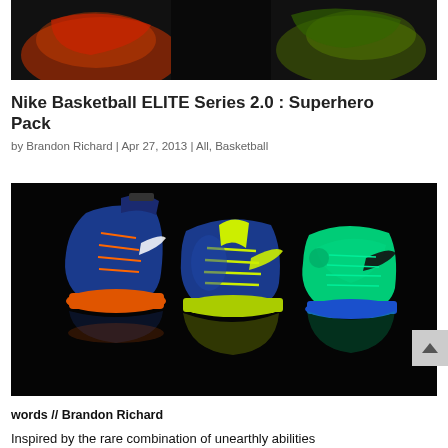[Figure (photo): Top portion of a dark/black background image showing Nike basketball shoes with colorful accents (partially cropped at top of page)]
Nike Basketball ELITE Series 2.0 : Superhero Pack
by Brandon Richard | Apr 27, 2013 | All, Basketball
[Figure (photo): Three Nike basketball shoes on a black background: left shoe is blue/orange high-top, center shoe is blue/yellow-green low-top, right shoe is green/blue low-top. Reflections visible beneath the shoes.]
words // Brandon Richard
Inspired by the rare combination of unearthly abilities